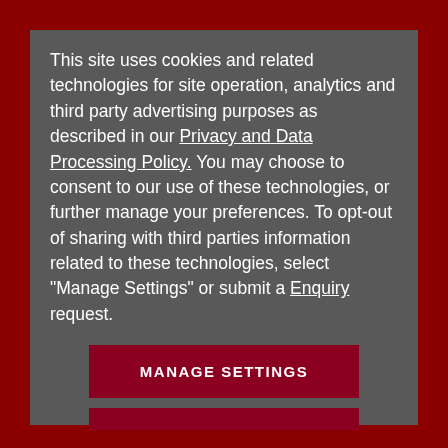This site uses cookies and related technologies for site operation, analytics and third party advertising purposes as described in our Privacy and Data Processing Policy. You may choose to consent to our use of these technologies, or further manage your preferences. To opt-out of sharing with third parties information related to these technologies, select "Manage Settings" or submit a Enquiry request.
MANAGE SETTINGS
ACCEPT RECOMMENDED